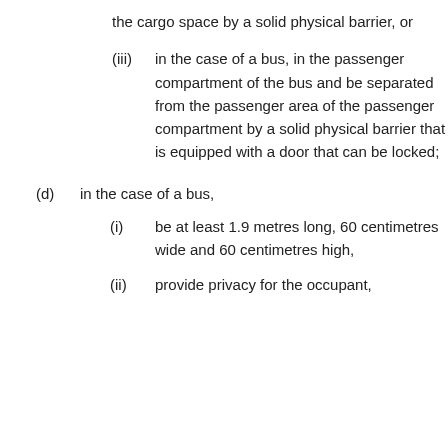the cargo space by a solid physical barrier, or
(iii)  in the case of a bus, in the passenger compartment of the bus and be separated from the passenger area of the passenger compartment by a solid physical barrier that is equipped with a door that can be locked;
(d)  in the case of a bus,
(i)  be at least 1.9 metres long, 60 centimetres wide and 60 centimetres high,
(ii)  provide privacy for the occupant,